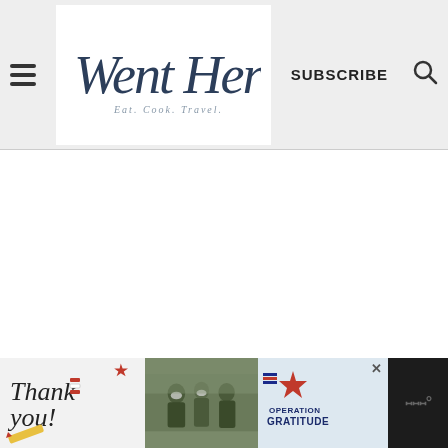Went Here 8 This — Eat. Cook. Travel. — SUBSCRIBE
[Figure (screenshot): White main content area of a food/travel blog website, mostly blank]
[Figure (infographic): Operation Gratitude advertisement banner with 'Thank you!' text, military personnel photo, and Operation Gratitude logo on dark background]